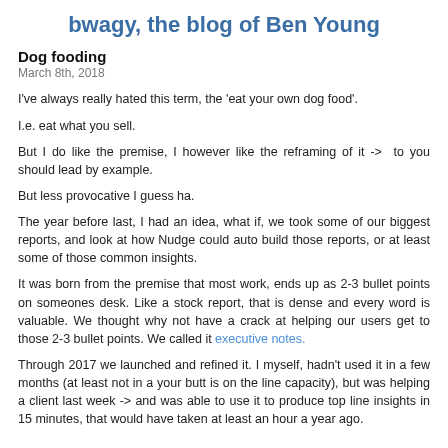bwagy, the blog of Ben Young
Dog fooding
March 8th, 2018
I've always really hated this term, the 'eat your own dog food'.
I.e. eat what you sell.
But I do like the premise, I however like the reframing of it ->  to you should lead by example.
But less provocative I guess ha.
The year before last, I had an idea, what if, we took some of our biggest reports, and look at how Nudge could auto build those reports, or at least some of those common insights.
It was born from the premise that most work, ends up as 2-3 bullet points on someones desk. Like a stock report, that is dense and every word is valuable. We thought why not have a crack at helping our users get to those 2-3 bullet points. We called it executive notes.
Through 2017 we launched and refined it. I myself, hadn't used it in a few months (at least not in a your butt is on the line capacity), but was helping a client last week -> and was able to use it to produce top line insights in 15 minutes, that would have taken at least an hour a year ago.